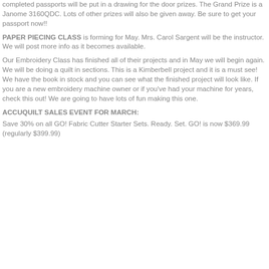completed passports will be put in a drawing for the door prizes. The Grand Prize is a Janome 3160QDC. Lots of other prizes will also be given away. Be sure to get your passport now!!
PAPER PIECING CLASS is forming for May. Mrs. Carol Sargent will be the instructor. We will post more info as it becomes available.
Our Embroidery Class has finished all of their projects and in May we will begin again. We will be doing a quilt in sections. This is a Kimberbell project and it is a must see! We have the book in stock and you can see what the finished project will look like. If you are a new embroidery machine owner or if you've had your machine for years, check this out! We are going to have lots of fun making this one.
ACCUQUILT SALES EVENT FOR MARCH:
Save 30% on all GO! Fabric Cutter Starter Sets. Ready. Set. GO! is now $369.99 (regularly $399.99)